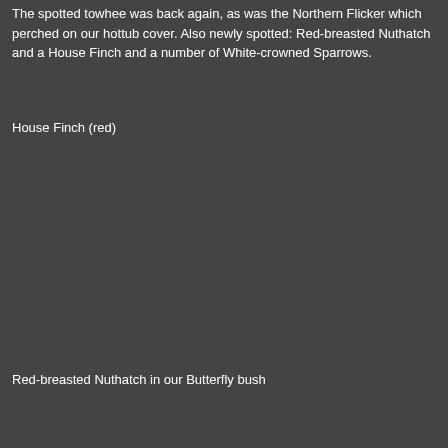The spotted towhee was back again, as was the Northern Flicker which perched on our hottub cover. Also newly spotted: Red-breasted Nuthatch and a House Finch and a number of White-crowned Sparrows.
House Finch (red)
[Figure (photo): Photo of a House Finch (red) — image area appears dark/blank in this scan]
Red-breasted Nuthatch in our Butterfly bush